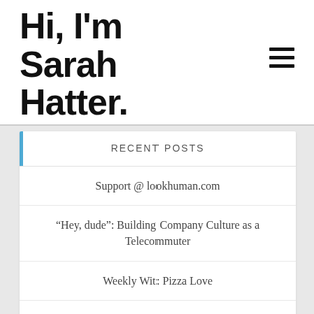Hi, I'm Sarah Hatter.
RECENT POSTS
Support @ lookhuman.com
“Hey, dude”: Building Company Culture as a Telecommuter
Weekly Wit: Pizza Love
Weekly Wit: 50 Shades of “Meh”